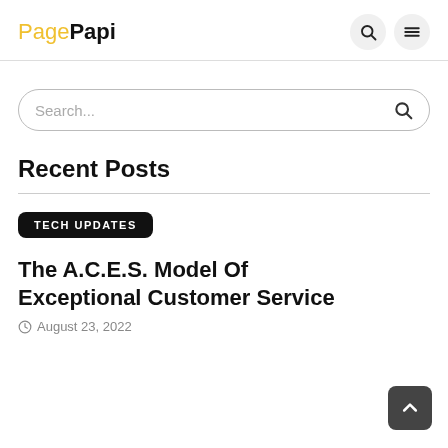PagePapi
Search...
Recent Posts
TECH UPDATES
The A.C.E.S. Model Of Exceptional Customer Service
August 23, 2022